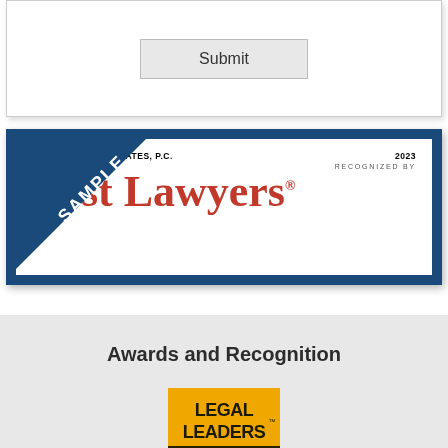[Figure (screenshot): Submit button inside a bordered white box]
[Figure (logo): Best Lawyers 2023 recognition badge for Sidney L. & Associates, P.C. with a diagonal SAMPLE watermark ribbon across it]
Awards and Recognition
[Figure (logo): Legal Leaders Top Rated Lawyers 2018 AV Preeminent badge by Martindale-Hubbell]